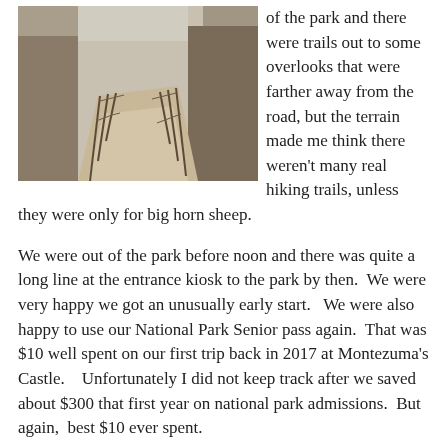[Figure (photo): A photograph of a park trail, showing a sandy/dirt path with fencing on the sides, winding through rocky terrain.]
of the park and there were trails out to some overlooks that were farther away from the road, but the terrain made me think there weren't many real hiking trails, unless they were only for big horn sheep.
We were out of the park before noon and there was quite a long line at the entrance kiosk to the park by then.  We were very happy we got an unusually early start.   We were also happy to use our National Park Senior pass again.  That was $10 well spent on our first trip back in 2017 at Montezuma's Castle.    Unfortunately I did not keep track after we saved about $300 that first year on national park admissions.  But again,  best $10 ever spent.